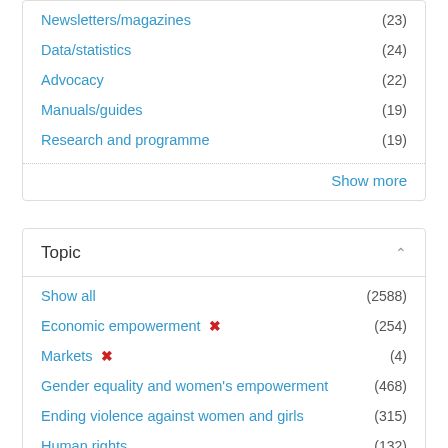Newsletters/magazines (23)
Data/statistics (24)
Advocacy (22)
Manuals/guides (19)
Research and programme (19)
Show more
Topic
Show all (2588)
Economic empowerment ✗ (254)
Markets ✗ (4)
Gender equality and women's empowerment (468)
Ending violence against women and girls (315)
Human rights (132)
COVID-19 (124)
Peace and security (117)
Humanitarian action (88)